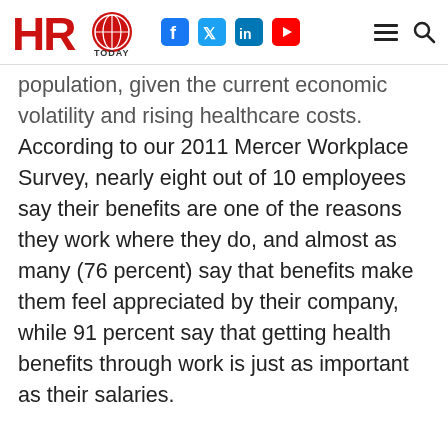HRO Today
population, given the current economic volatility and rising healthcare costs. According to our 2011 Mercer Workplace Survey, nearly eight out of 10 employees say their benefits are one of the reasons they work where they do, and almost as many (76 percent) say that benefits make them feel appreciated by their company, while 91 percent say that getting health benefits through work is just as important as their salaries.